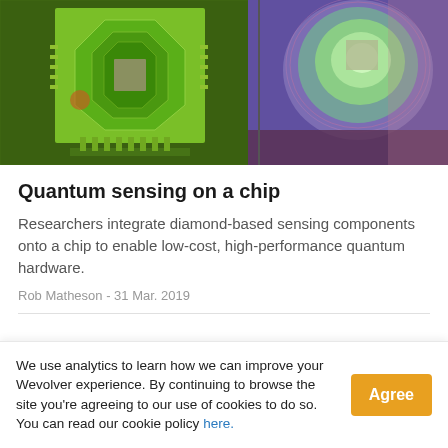[Figure (photo): Microscopic images of semiconductor chips: left image shows a green-tinted chip with octagonal circuit pattern, right image shows a blurred colorful chip with circular interference pattern.]
Quantum sensing on a chip
Researchers integrate diamond-based sensing components onto a chip to enable low-cost, high-performance quantum hardware.
Rob Matheson - 31 Mar. 2019
We use analytics to learn how we can improve your Wevolver experience. By continuing to browse the site you're agreeing to our use of cookies to do so. You can read our cookie policy here.